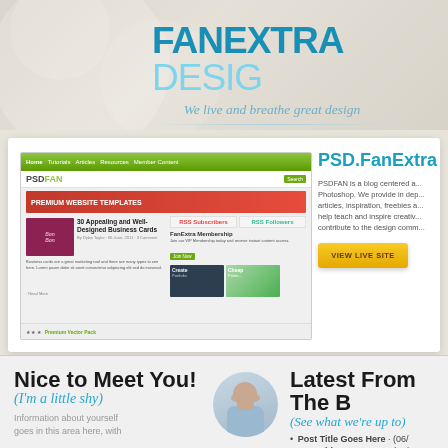FANEXTRA DESIGN
We live and breathe great design
[Figure (screenshot): Screenshot of PSDFAN website with green navigation bar, banner for Premium Website Templates, article about 30 Appealing Business Cards, sidebar with subscription counts, FanExtra Membership section, and ad boxes]
PSD.FanExtra
PSDFAN is a blog centered a... Photoshop. We provide in dep... articles, inspiration, freebies a... help teach and inspire creativ... contribute to the design comm...
[Figure (infographic): VIEW LIVE SITE yellow button]
Nice to Meet You!
(I'm a little shy)
Information about yourself goes in this area here, with
[Figure (photo): Person covering face with hands]
Latest From The
(See what we're up to)
Post Title Goes Here · (06/
Post Title Goes Here · (06/